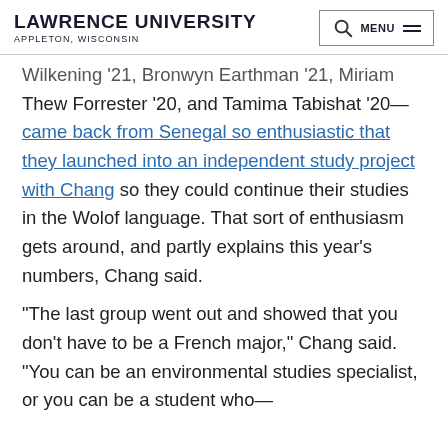Lawrence University | Appleton, Wisconsin
Wilkening '21, Bronwyn Earthman '21, Miriam Thew Forrester '20, and Tamima Tabishat '20—came back from Senegal so enthusiastic that they launched into an independent study project with Chang so they could continue their studies in the Wolof language. That sort of enthusiasm gets around, and partly explains this year's numbers, Chang said.
“The last group went out and showed that you don’t have to be a French major,” Chang said. “You can be an environmental studies specialist, or you can be a student who—